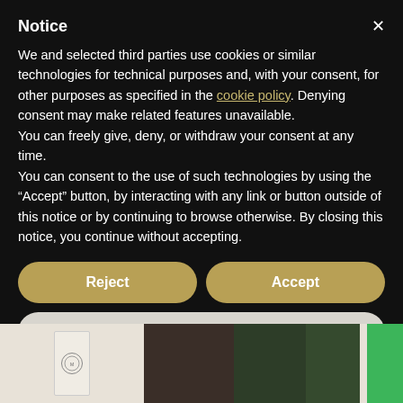Notice
We and selected third parties use cookies or similar technologies for technical purposes and, with your consent, for other purposes as specified in the cookie policy. Denying consent may make related features unavailable.
You can freely give, deny, or withdraw your consent at any time.
You can consent to the use of such technologies by using the “Accept” button, by interacting with any link or button outside of this notice or by continuing to browse otherwise. By closing this notice, you continue without accepting.
[Figure (screenshot): Two buttons side by side: 'Reject' on the left and 'Accept' on the right, both golden/tan colored with rounded pill shape and white bold text]
[Figure (screenshot): 'Learn more and customise' button, light grey rounded pill shape with dark bold text]
[Figure (photo): Bottom strip showing wine/champagne bottles — a pale label bottle on white background on the left, a dark brown bottle in the center, and two dark green bottles on the right, with a bright green rectangle at far right edge]